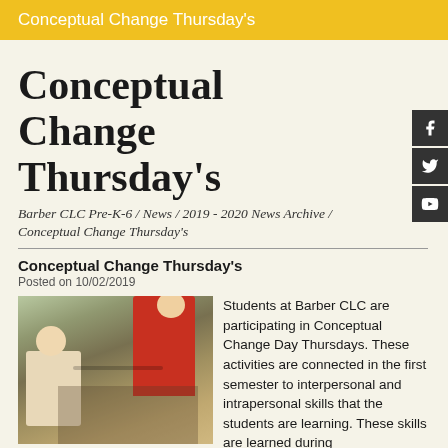Conceptual Change Thursday's
Conceptual Change Thursday's
Barber CLC Pre-K-6 / News / 2019 - 2020 News Archive / Conceptual Change Thursday's
Conceptual Change Thursday's
Posted on 10/02/2019
[Figure (photo): Children at Barber CLC doing hands-on activity at a table]
Students at Barber CLC are participating in Conceptual Change Day Thursdays. These activities are connected in the first semester to interpersonal and intrapersonal skills that the students are learning. These skills are learned during the time the students would typically have specials, but